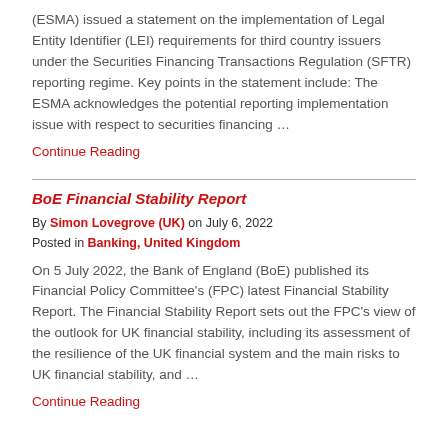(ESMA) issued a statement on the implementation of Legal Entity Identifier (LEI) requirements for third country issuers under the Securities Financing Transactions Regulation (SFTR) reporting regime. Key points in the statement include: The ESMA acknowledges the potential reporting implementation issue with respect to securities financing …
Continue Reading
BoE Financial Stability Report
By Simon Lovegrove (UK) on July 6, 2022
Posted in Banking, United Kingdom
On 5 July 2022, the Bank of England (BoE) published its Financial Policy Committee's (FPC) latest Financial Stability Report. The Financial Stability Report sets out the FPC's view of the outlook for UK financial stability, including its assessment of the resilience of the UK financial system and the main risks to UK financial stability, and …
Continue Reading